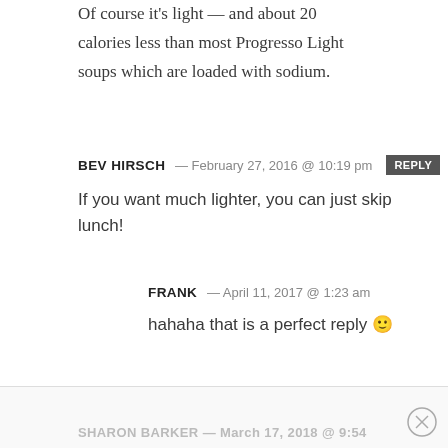Of course it's light — and about 20 calories less than most Progresso Light soups which are loaded with sodium.
BEV HIRSCH — February 27, 2016 @ 10:19 pm [REPLY]
If you want much lighter, you can just skip lunch!
FRANK — April 11, 2017 @ 1:23 am
hahaha that is a perfect reply 😊
SHARON BARKER — March 17, 2018 @ 9:54